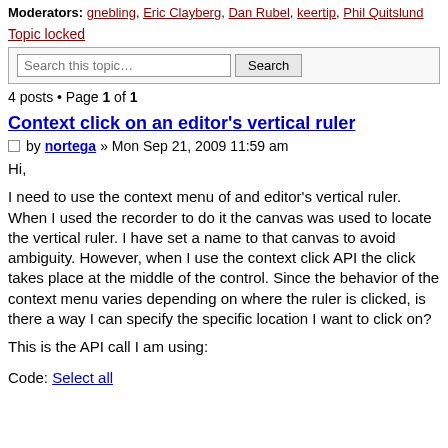Moderators: gnebling, Eric Clayberg, Dan Rubel, keertip, Phil Quitslund
Topic locked
4 posts • Page 1 of 1
Context click on an editor's vertical ruler
by nortega » Mon Sep 21, 2009 11:59 am
Hi,

I need to use the context menu of and editor's vertical ruler. When I used the recorder to do it the canvas was used to locate the vertical ruler. I have set a name to that canvas to avoid ambiguity. However, when I use the context click API the click takes place at the middle of the control. Since the behavior of the context menu varies depending on where the ruler is clicked, is there a way I can specify the specific location I want to click on?

This is the API call I am using:
Code: Select all